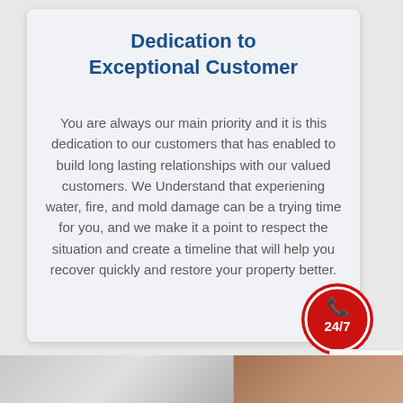Dedication to Exceptional Customer
You are always our main priority and it is this dedication to our customers that has enabled to build long lasting relationships with our valued customers. We Understand that experiening water, fire, and mold damage can be a trying time for you, and we make it a point to respect the situation and create a timeline that will help you recover quickly and restore your property better.
[Figure (illustration): Red circular emergency call badge with 24/7 phone icon and text EMERGENCY CALL]